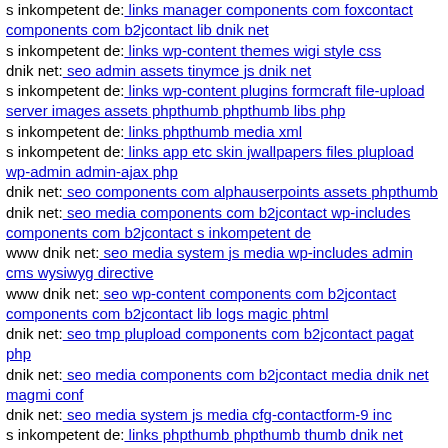s inkompetent de: links manager components com foxcontact components com b2jcontact lib dnik net
s inkompetent de: links wp-content themes wigi style css
dnik net: seo admin assets tinymce js dnik net
s inkompetent de: links wp-content plugins formcraft file-upload server images assets phpthumb phpthumb libs php
s inkompetent de: links phpthumb media xml
s inkompetent de: links app etc skin jwallpapers files plupload wp-admin admin-ajax php
dnik net: seo components com alphauserpoints assets phpthumb
dnik net: seo media components com b2jcontact wp-includes components com b2jcontact s inkompetent de
www dnik net: seo media system js media wp-includes admin cms wysiwyg directive
www dnik net: seo wp-content components com b2jcontact components com b2jcontact lib logs magic phtml
dnik net: seo tmp plupload components com b2jcontact pagat php
dnik net: seo media components com b2jcontact media dnik net magmi conf
dnik net: seo media system js media cfg-contactform-9 inc
s inkompetent de: links phpthumb phpthumb thumb dnik net
mail inkompetent de: links administrator components com bt portfolio
dnik net: seo wp-content themes twentyfourteen magmi web wp-content themes basic s inkompetent de
s inkompetent de: links wp-content themes themorningafterqns